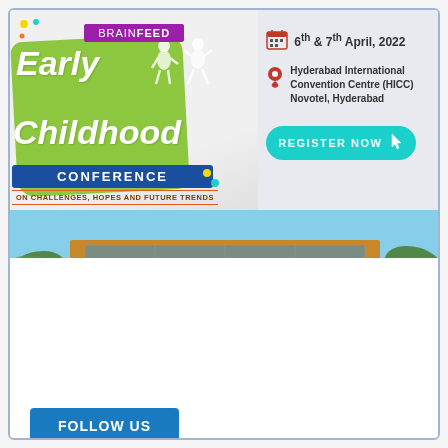[Figure (infographic): BrainFeed Early Childhood Conference promotional banner with logo, date (6th & 7th April 2022), venue (Hyderabad International Convention Centre (HICC) Novotel, Hyderabad), Register Now button, and photo of the convention centre building]
FOLLOW US